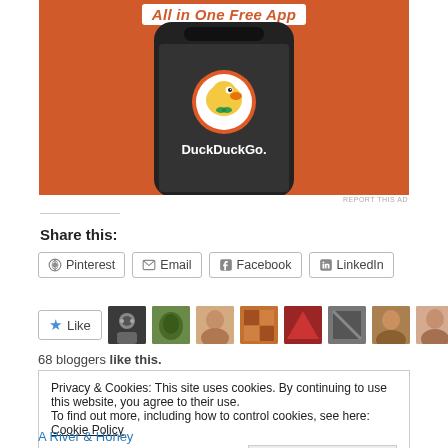[Figure (screenshot): DuckDuckGo All in One Free App advertisement showing a smartphone with the DuckDuckGo duck logo and app name on an orange background]
REPORT THIS AD
Share this:
Pinterest
Email
Facebook
LinkedIn
[Figure (screenshot): Like button with star icon and a row of blogger avatar thumbnails]
68 bloggers like this.
Privacy & Cookies: This site uses cookies. By continuing to use this website, you agree to their use.
To find out more, including how to control cookies, see here: Cookie Policy
Close and accept
A River & Honey